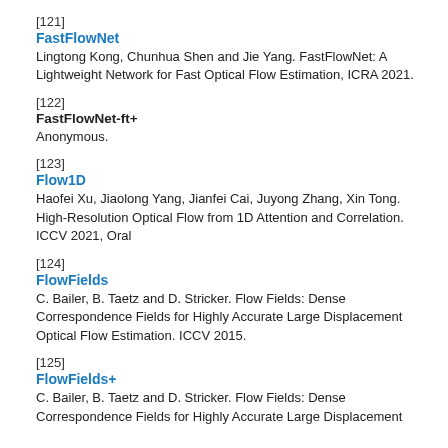[121]
FastFlowNet
Lingtong Kong, Chunhua Shen and Jie Yang. FastFlowNet: A Lightweight Network for Fast Optical Flow Estimation, ICRA 2021.
[122]
FastFlowNet-ft+
Anonymous.
[123]
Flow1D
Haofei Xu, Jiaolong Yang, Jianfei Cai, Juyong Zhang, Xin Tong. High-Resolution Optical Flow from 1D Attention and Correlation. ICCV 2021, Oral
[124]
FlowFields
C. Bailer, B. Taetz and D. Stricker. Flow Fields: Dense Correspondence Fields for Highly Accurate Large Displacement Optical Flow Estimation. ICCV 2015.
[125]
FlowFields+
C. Bailer, B. Taetz and D. Stricker. Flow Fields: Dense Correspondence Fields for Highly Accurate Large Displacement